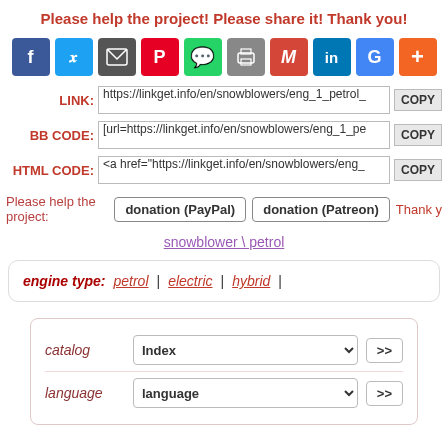Please help the project! Please share it! Thank you!
[Figure (infographic): Row of social media sharing icons: Facebook, Twitter, email, Pinterest, WhatsApp, print, Gmail, LinkedIn, Google, plus]
LINK: https://linkget.info/en/snowblowers/eng_1_petrol_ [COPY]
BB CODE: [url=https://linkget.info/en/snowblowers/eng_1_pe [COPY]
HTML CODE: <a href="https://linkget.info/en/snowblowers/eng_ [COPY]
Please help the project: donation (PayPal) donation (Patreon) Thank y
snowblower \ petrol
engine type: petrol | electric | hybrid |
catalog Index >> language language >>